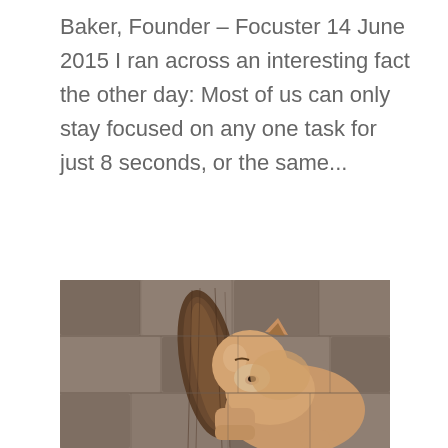Baker, Founder – Focuster 14 June 2015 I ran across an interesting fact the other day: Most of us can only stay focused on any one task for just 8 seconds, or the same...
[Figure (photo): A lioness resting her head on a large tree log or branch, against a stone/rock textured background. The lion appears relaxed or sleepy.]